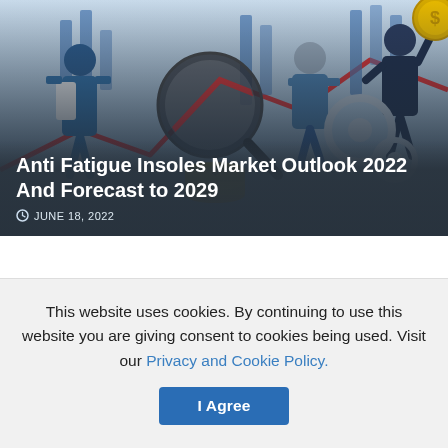[Figure (illustration): Market research illustration showing business people with stock chart, magnifying glass, gears, and dollar coin on a light blue background]
Anti Fatigue Insoles Market Outlook 2022 And Forecast to 2029
JUNE 18, 2022
This website uses cookies. By continuing to use this website you are giving consent to cookies being used. Visit our Privacy and Cookie Policy.
I Agree